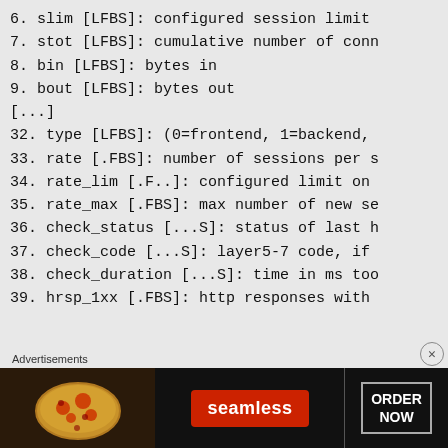6. slim [LFBS]: configured session limit
7. stot [LFBS]: cumulative number of conn
8. bin [LFBS]: bytes in
9. bout [LFBS]: bytes out
[...]
32. type [LFBS]: (0=frontend, 1=backend,
33. rate [.FBS]: number of sessions per s
34. rate_lim [.F..]: configured limit on
35. rate_max [.FBS]: max number of new se
36. check_status [...S]: status of last h
37. check_code [...S]: layer5-7 code, if
38. check_duration [...S]: time in ms too
39. hrsp_1xx [.FBS]: http responses with
[Figure (infographic): Seamless food delivery advertisement banner with pizza image on left, Seamless logo in center, and ORDER NOW button on right]